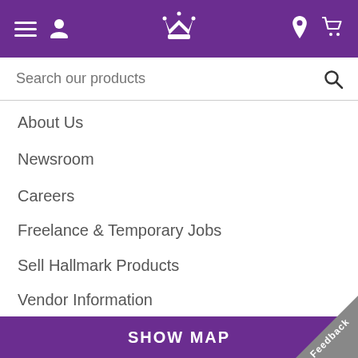[Figure (screenshot): Purple navigation bar with hamburger menu, profile icon, crown logo, location pin, and cart icon]
Search our products
About Us
Newsroom
Careers
Freelance & Temporary Jobs
Sell Hallmark Products
Vendor Information
[Figure (illustration): Social media icons row: Facebook, Twitter, Pinterest, Instagram, YouTube, and partially visible LinkedIn and other icon]
SHOW MAP